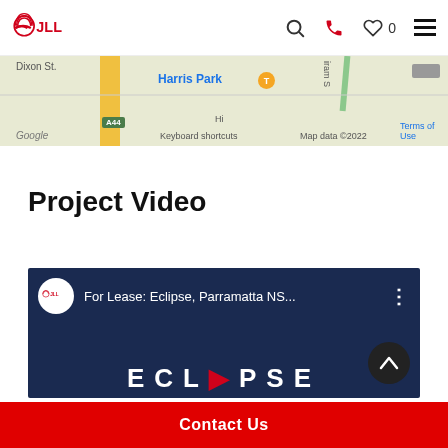JLL — header navigation with logo, search, phone, favorites (0), menu
[Figure (map): Google Maps snippet showing Harris Park area with Dixon St, road A44 (yellow), Harris Park transit stop (T), green roads, Google watermark, and map attribution: Keyboard shortcuts | Map data ©2022 | Terms of Use]
Project Video
[Figure (screenshot): YouTube video thumbnail: JLL logo on white circle, title 'For Lease: Eclipse, Parramatta NS…', three-dot menu, scroll-up button, large 'ECLIPSE' text in white on dark blue background]
Contact Us